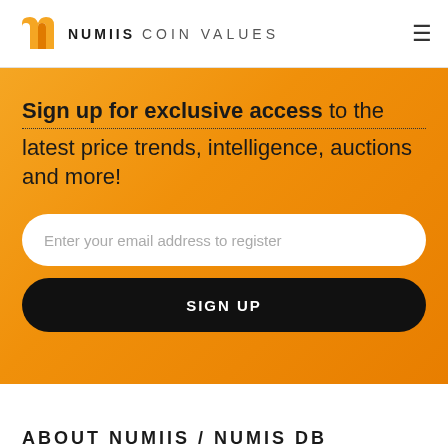NUMIIS COIN VALUES
Sign up for exclusive access to the latest price trends, intelligence, auctions and more!
Enter your email address to register
SIGN UP
ABOUT NUMIIS / NUMIS DB